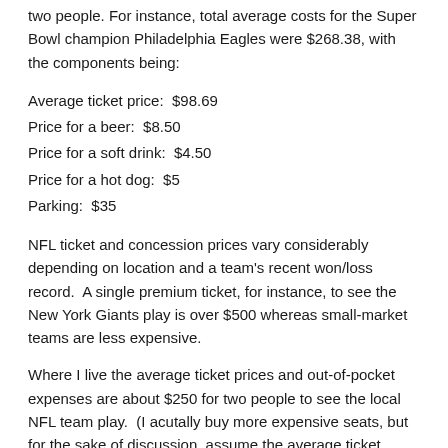two people. For instance, total average costs for the Super Bowl champion Philadelphia Eagles were $268.38, with the components being:
Average ticket price:  $98.69
Price for a beer:  $8.50
Price for a soft drink:  $4.50
Price for a hot dog:  $5
Parking:  $35
NFL ticket and concession prices vary considerably depending on location and a team's recent won/loss record.  A single premium ticket, for instance, to see the New York Giants play is over $500 whereas small-market teams are less expensive.
Where I live the average ticket prices and out-of-pocket expenses are about $250 for two people to see the local NFL team play.  (I acutally buy more expensive seats, but for the sake of discussion, assume the average ticket price.)
On a given Sunday, I can attend a game with my wife for $250 or stay home and watch on TV and also bet a few races via the internet